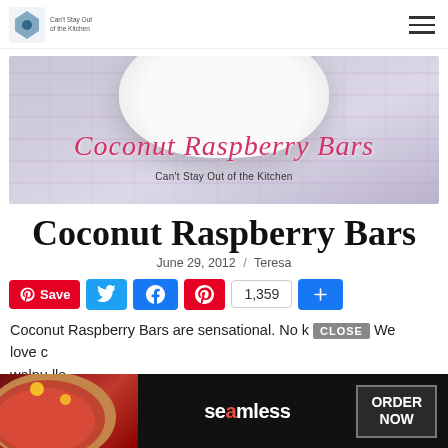Can't Stay Out of the Kitchen
[Figure (photo): Hero banner image with a white bowl on a plaid cloth background, with decorative script text 'Coconut Raspberry Bars' and subtitle 'Can't Stay Out of the Kitchen']
Coconut Raspberry Bars
June 29, 2012  /  Teresa
[Figure (infographic): Social sharing buttons: Pinterest Save, Twitter, Facebook, Pinterest with count 1,359, and a blue plus button]
Coconut Raspberry Bars are sensational. No k... We love c... walnu... lla
[Figure (screenshot): Advertisement banner for Seamless food ordering with pizza image, CLOSE button, 'seamless' logo text, and 'ORDER NOW' button]